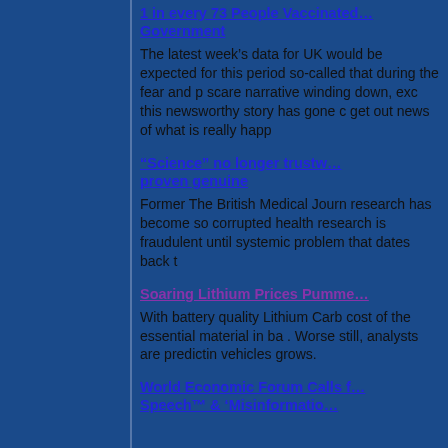1 in every 73 People Vaccinated ... Government
The latest week’s data for UK would be expected for this period so-called that during the fear and p scare narrative winding down, exc this newsworthy story has gone c get out news of what is really happ
“Science” no longer trustw proven genuine
Former The British Medical Journ research has become so corrupted health research is fraudulent until systemic problem that dates back t
Soaring Lithium Prices Pumme
With battery quality Lithium Carb cost of the essential material in ba . Worse still, analysts are predictin vehicles grows.
World Economic Forum Calls f Speech™ & ‘Misinformatio